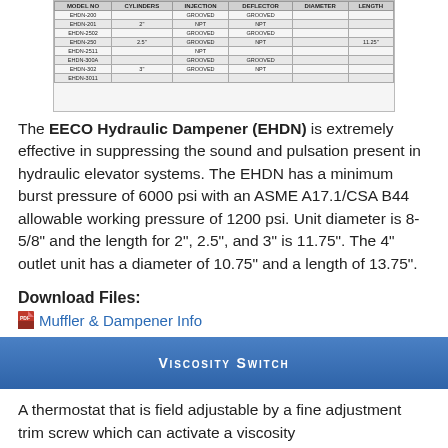[Figure (table-as-image): Table showing EECO Hydraulic Dampener model specifications with columns for model no, cylinders, injection, deflector, diameter, and length]
The EECO Hydraulic Dampener (EHDN) is extremely effective in suppressing the sound and pulsation present in hydraulic elevator systems. The EHDN has a minimum burst pressure of 6000 psi with an ASME A17.1/CSA B44 allowable working pressure of 1200 psi. Unit diameter is 8-5/8" and the length for 2", 2.5", and 3" is 11.75". The 4" outlet unit has a diameter of 10.75" and a length of 13.75".
Download Files:
Muffler & Dampener Info
Viscosity Switch
A thermostat that is field adjustable by a fine adjustment trim screw which can activate a viscosity control system. The thrermostat is UL and